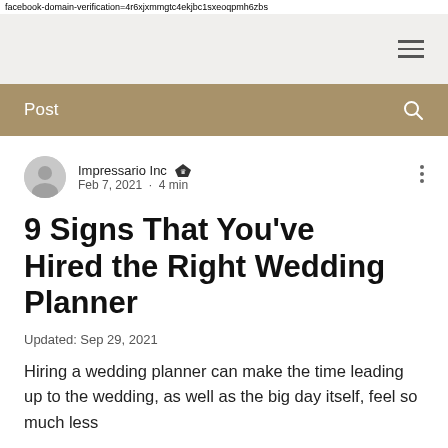facebook-domain-verification=4r6xjxmmgtc4ekjbc1sxeoqpmh6zbs
[Figure (screenshot): Navigation bar with hamburger menu icon on gray background]
[Figure (screenshot): Post navigation bar in tan/gold color with 'Post' label and search icon]
Impressario Inc [admin crown] Feb 7, 2021 · 4 min
9 Signs That You've Hired the Right Wedding Planner
Updated: Sep 29, 2021
Hiring a wedding planner can make the time leading up to the wedding, as well as the big day itself, feel so much less